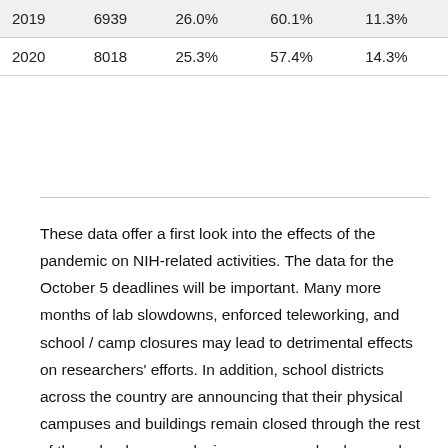| 2019 | 6939 | 26.0% | 60.1% | 11.3% |
| 2020 | 8018 | 25.3% | 57.4% | 14.3% |
These data offer a first look into the effects of the pandemic on NIH-related activities. The data for the October 5 deadlines will be important. Many more months of lab slowdowns, enforced teleworking, and school / camp closures may lead to detrimental effects on researchers' efforts. In addition, school districts across the country are announcing that their physical campuses and buildings remain closed through the rest of the calendar year, placing even more burdens and stress on scientists with family responsibilities.
Over the next few weeks to months, we will share with